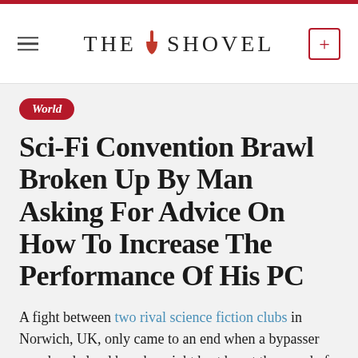THE SHOVEL
World
Sci-Fi Convention Brawl Broken Up By Man Asking For Advice On How To Increase The Performance Of His PC
A fight between two rival science fiction clubs in Norwich, UK, only came to an end when a bypasser wondered aloud how he might best boost the speed of his computer.